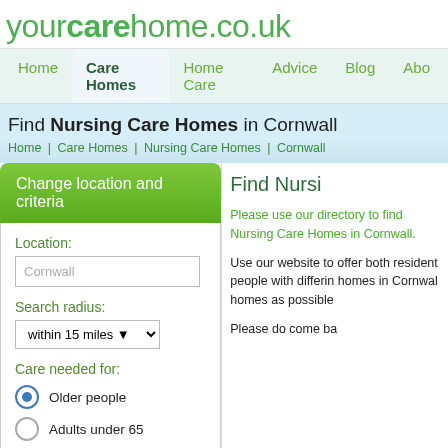yourcarehome.co.uk
Home | Care Homes | Home Care | Advice | Blog | About
Find Nursing Care Homes in Cornwall
Home | Care Homes | Nursing Care Homes | Cornwall
Change location and criteria
Location: Cornwall
Search radius: within 15 miles
Care needed for: Older people (selected), Adults under 65
Find Nursi
Please use our directory to find Nursing Care Homes in Cornwall.
Use our website to offer both residential people with differing homes in Cornwall homes as possible
Please do come ba